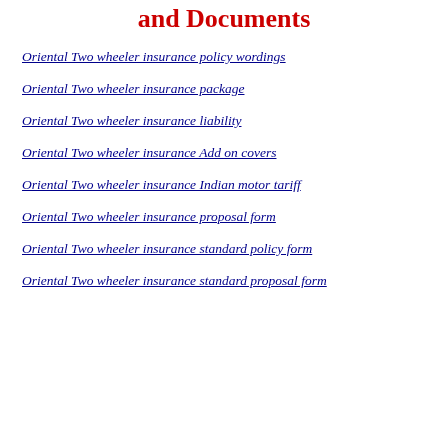and Documents
Oriental Two wheeler insurance policy wordings
Oriental Two wheeler insurance package
Oriental Two wheeler insurance liability
Oriental Two wheeler insurance Add on covers
Oriental Two wheeler insurance Indian motor tariff
Oriental Two wheeler insurance proposal form
Oriental Two wheeler insurance standard policy form
Oriental Two wheeler insurance standard proposal form